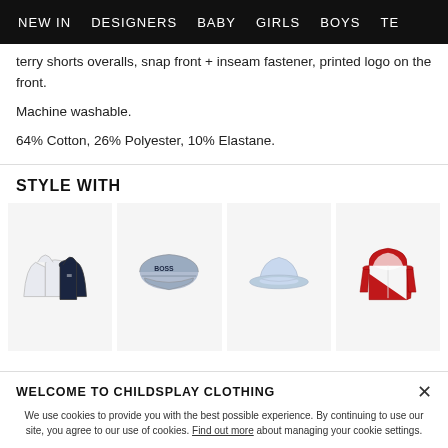NEW IN   DESIGNERS   BABY   GIRLS   BOYS   TE…
terry shorts overalls, snap front + inseam fastener, printed logo on the front.

Machine washable.

64% Cotton, 26% Polyester, 10% Elastane.
STYLE WITH
[Figure (photo): Four product images: reversible baby jacket (navy/white), navy baseball cap with BOSS logo, light blue bucket hat, red hooded zip jacket]
WELCOME TO CHILDSPLAY CLOTHING
We use cookies to provide you with the best possible experience. By continuing to use our site, you agree to our use of cookies. Find out more about managing your cookie settings.